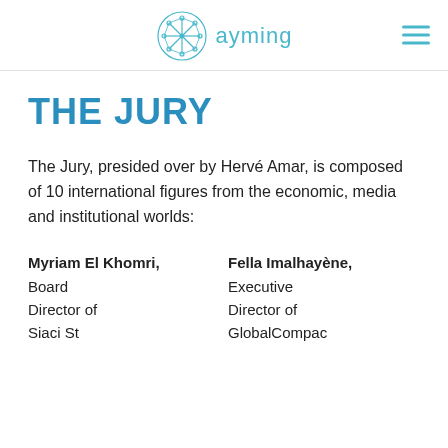ayming
THE JURY
The Jury, presided over by Hervé Amar, is composed of 10 international figures from the economic, media and institutional worlds:
Myriam El Khomri, Board Director of Siaci St
Fella Imalhayène, Executive Director of GlobalCompac